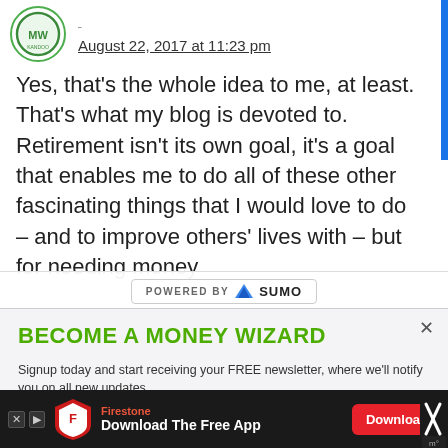August 22, 2017 at 11:23 pm
Yes, that’s the whole idea to me, at least. That’s what my blog is devoted to. Retirement isn’t its own goal, it’s a goal that enables me to do all of these other fascinating things that I would love to do – and to improve others’ lives with – but for needing money
[Figure (logo): POWERED BY SUMO logo badge]
BECOME A MONEY WIZARD
Signup today and start receiving your FREE newsletter, where we'll notify you on all new updates.
Enter your Email
[Figure (infographic): Firestone advertisement: Download The Free App button with Firestone shield logo]